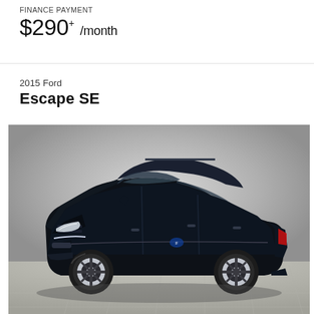FINANCE PAYMENT
$290+ /month
2015 Ford
Escape SE
[Figure (photo): 2015 Ford Escape SE in dark navy/black color, photographed from a three-quarter front angle on a grey gradient background with a light floor.]